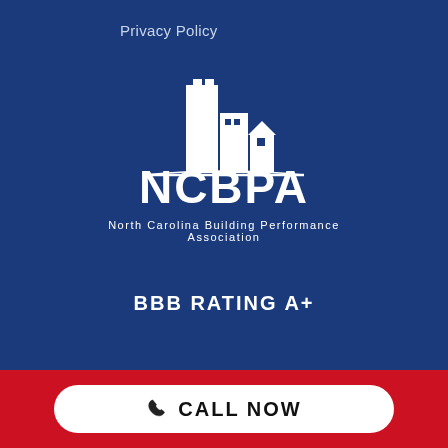Privacy Policy
[Figure (logo): NCBPA logo: white silhouette of buildings (tall skyscraper, mid-rise, small house) above a horizontal line, with large bold white text 'NCBPA' and subtitle 'North Carolina Building Performance Association']
BBB RATING A+
CALL NOW